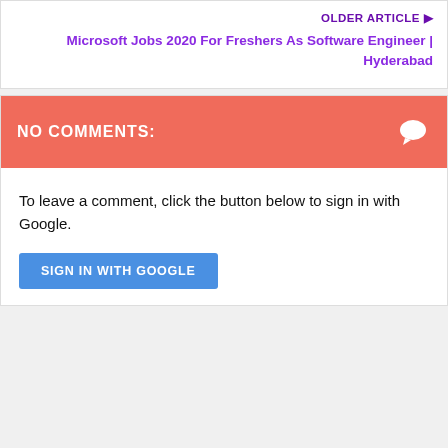OLDER ARTICLE ▶
Microsoft Jobs 2020 For Freshers As Software Engineer | Hyderabad
NO COMMENTS:
To leave a comment, click the button below to sign in with Google.
SIGN IN WITH GOOGLE